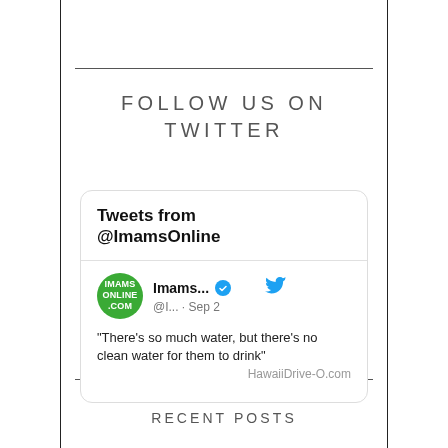FOLLOW US ON TWITTER
[Figure (screenshot): Twitter widget showing 'Tweets from @ImamsOnline' with a tweet from Imams... (@I...) dated Sep 2: "There's so much water, but there's no clean water for them to drink" with HawaiiDrive-O.com link]
RECENT POSTS